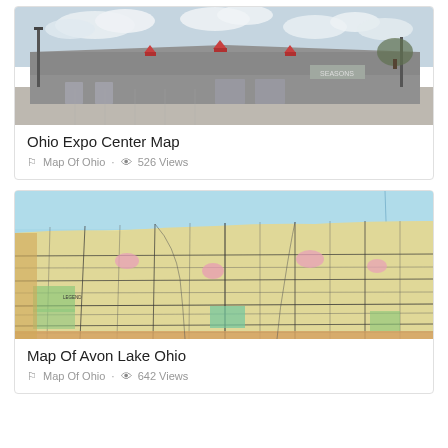[Figure (photo): Photograph of the Ohio Expo Center building exterior — large gray metal building with red cupolas on the roof, parking lot in foreground, cloudy sky background]
Ohio Expo Center Map
Map Of Ohio · 526 Views
[Figure (map): Map of Avon Lake Ohio showing streets, parcels, land use zoning in yellow, green, and pink, with Lake Erie shoreline in light blue at the top]
Map Of Avon Lake Ohio
Map Of Ohio · 642 Views